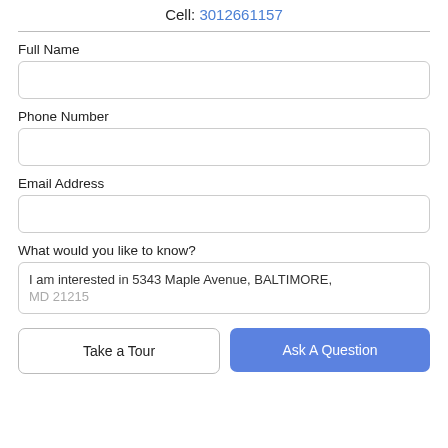Cell: 3012661157
Full Name
Phone Number
Email Address
What would you like to know?
I am interested in 5343 Maple Avenue, BALTIMORE, MD 21215
Take a Tour
Ask A Question